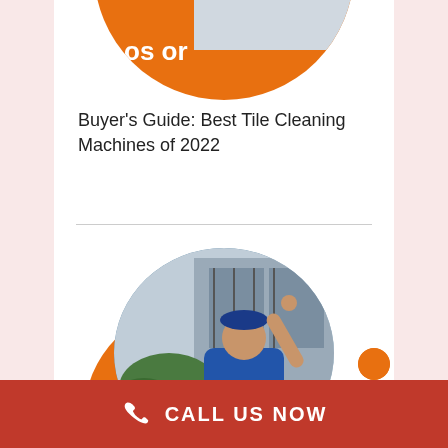[Figure (illustration): Top portion of a circular image showing an orange circle with partial white text 'os or' visible and a partial image of what appears to be a vehicle or equipment, cropped at the top of the page]
Buyer's Guide: Best Tile Cleaning Machines of 2022
[Figure (photo): A circular photo of a man in a blue cap and blue shirt cleaning or washing a window on a building exterior, with orange decorative arc behind the circle]
CALL US NOW